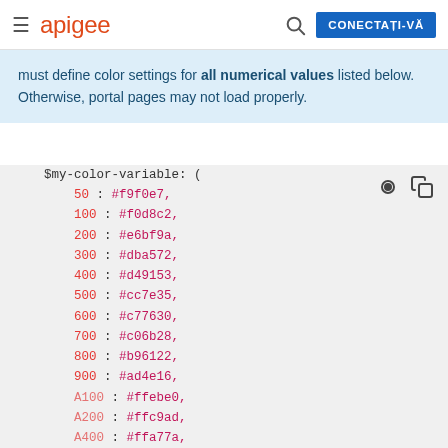≡ apigee  🔍  CONECTAȚI-VĂ
must define color settings for all numerical values listed below. Otherwise, portal pages may not load properly.
[Figure (screenshot): Code block showing SCSS color variable map with keys 50 through A400 and hex color values]
$my-color-variable: (
    50 : #f9f0e7,
    100 : #f0d8c2,
    200 : #e6bf9a,
    300 : #dba572,
    400 : #d49153,
    500 : #cc7e35,
    600 : #c77630,
    700 : #c06b28,
    800 : #b96122,
    900 : #ad4e16,
    A100 : #ffebe0,
    A200 : #ffc9ad,
    A400 : #ffa77a,